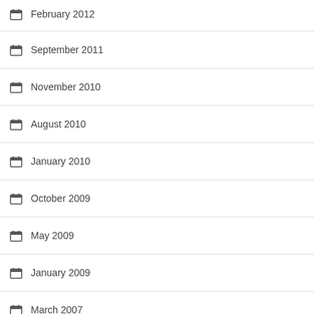February 2012
September 2011
November 2010
August 2010
January 2010
October 2009
May 2009
January 2009
March 2007
Privacy Policy   Terms And Conditions
© 2022 - CB750 Choppers. All Rights Reserved.